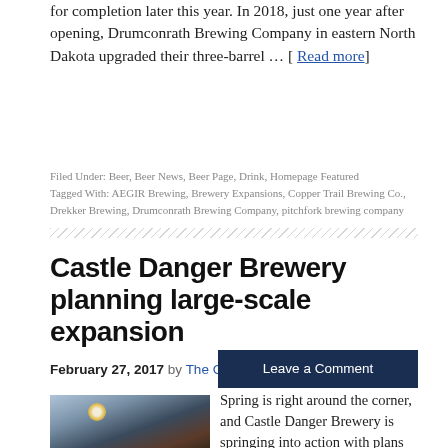for completion later this year. In 2018, just one year after opening, Drumconrath Brewing Company in eastern North Dakota upgraded their three-barrel … [ Read more]
Filed Under: Beer, Beer News, Beer Page, Drink, Homepage Featured
Tagged With: AEGIR Brewing, Brewery Expansions, Copper Trail Brewing Co., Drekker Brewing, Drumconrath Brewing Company, pitchfork brewing company
Castle Danger Brewery planning large-scale expansion
February 27, 2017 by The Growler
Leave a Comment
[Figure (photo): Exterior photo of Castle Danger Brewery building with sun visible in sky]
Spring is right around the corner, and Castle Danger Brewery is springing into action with plans for a new packaging facility adjacent to their